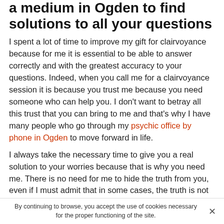a medium in Ogden to find solutions to all your questions
I spent a lot of time to improve my gift for clairvoyance because for me it is essential to be able to answer correctly and with the greatest accuracy to your questions. Indeed, when you call me for a clairvoyance session it is because you trust me because you need someone who can help you. I don't want to betray all this trust that you can bring to me and that's why I have many people who go through my psychic office by phone in Ogden to move forward in life.
I always take the necessary time to give you a real solution to your worries because that is why you need me. There is no need for me to hide the truth from you, even if I must admit that in some cases, the truth is not very easy to tell because it is not always very pleasant to hear. However
By continuing to browse, you accept the use of cookies necessary for the proper functioning of the site.